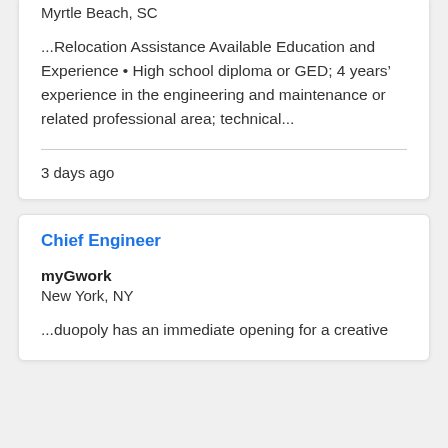Myrtle Beach, SC
...Relocation Assistance Available Education and Experience • High school diploma or GED; 4 years' experience in the engineering and maintenance or related professional area; technical...
3 days ago
Chief Engineer
myGwork
New York, NY
...duopoly has an immediate opening for a creative